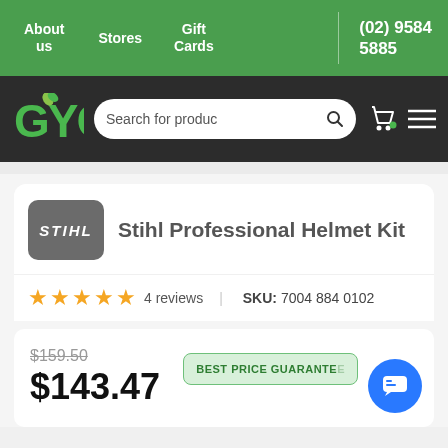About us   Stores   Gift Cards   (02) 9584 5885
[Figure (screenshot): GYC website header with logo, search bar, cart icon and menu icon on dark background]
Stihl Professional Helmet Kit
★★★★★ 4 reviews   SKU: 7004 884 0102
$159.50
$143.47
BEST PRICE GUARANTEED